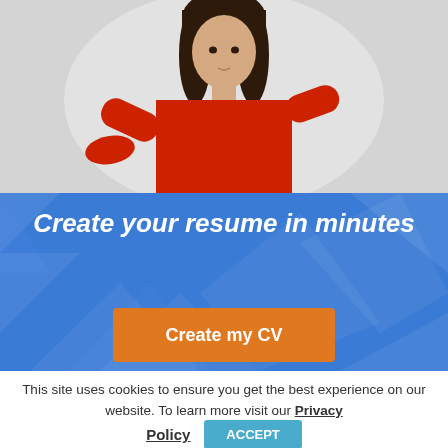[Figure (photo): Woman in red long-sleeve shirt posing with hand near chin, on grey background]
Create your resume in minutes
[Figure (other): Orange button labeled 'Create my CV' on blue banner background]
This site uses cookies to ensure you get the best experience on our website. To learn more visit our Privacy Policy
ACCEPT